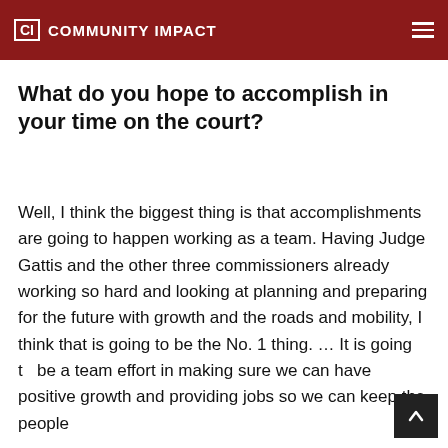CI COMMUNITY IMPACT
What do you hope to accomplish in your time on the court?
Well, I think the biggest thing is that accomplishments are going to happen working as a team. Having Judge Gattis and the other three commissioners already working so hard and looking at planning and preparing for the future with growth and the roads and mobility, I think that is going to be the No. 1 thing.  … It is going to be a team effort in making sure we can have positive growth and providing jobs so we can keep the people and to get the best things to our county.